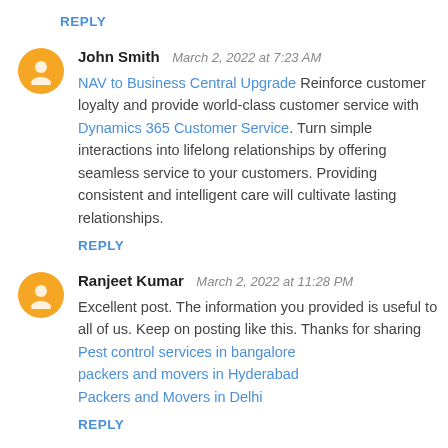REPLY
John Smith  March 2, 2022 at 7:23 AM
NAV to Business Central Upgrade Reinforce customer loyalty and provide world-class customer service with Dynamics 365 Customer Service. Turn simple interactions into lifelong relationships by offering seamless service to your customers. Providing consistent and intelligent care will cultivate lasting relationships.
REPLY
Ranjeet Kumar  March 2, 2022 at 11:28 PM
Excellent post. The information you provided is useful to all of us. Keep on posting like this. Thanks for sharing
Pest control services in bangalore
packers and movers in Hyderabad
Packers and Movers in Delhi
REPLY